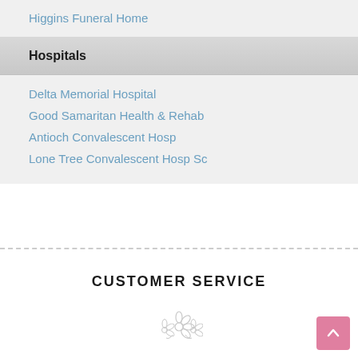Higgins Funeral Home
Hospitals
Delta Memorial Hospital
Good Samaritan Health & Rehab
Antioch Convalescent Hosp
Lone Tree Convalescent Hosp Sc
CUSTOMER SERVICE
[Figure (illustration): Small floral/flower decorative icon]
LOCATIONS